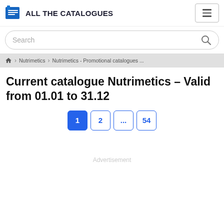ALL THE CATALOGUES
Search
⌂ > Nutrimetics > Nutrimetics - Promotional catalogues ...
Current catalogue Nutrimetics – Valid from 01.01 to 31.12
Page navigation: 1 2 ... 54
Advertisement